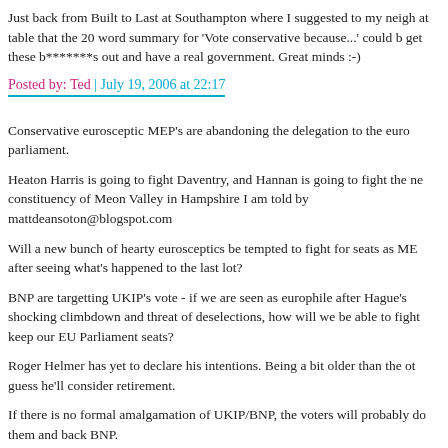Just back from Built to Last at Southampton where I suggested to my neigh at table that the 20 word summary for 'Vote conservative because...' could b get these b*******s out and have a real government. Great minds :-)
Posted by: Ted | July 19, 2006 at 22:17
Conservative eurosceptic MEP's are abandoning the delegation to the euro parliament.
Heaton Harris is going to fight Daventry, and Hannan is going to fight the ne constituency of Meon Valley in Hampshire I am told by mattdeansoton@blogspot.com
Will a new bunch of hearty eurosceptics be tempted to fight for seats as ME after seeing what's happened to the last lot?
BNP are targetting UKIP's vote - if we are seen as europhile after Hague's shocking climbdown and threat of deselections, how will we be able to fight keep our EU Parliament seats?
Roger Helmer has yet to declare his intentions. Being a bit older than the ot guess he'll consider retirement.
If there is no formal amalgamation of UKIP/BNP, the voters will probably do them and back BNP.